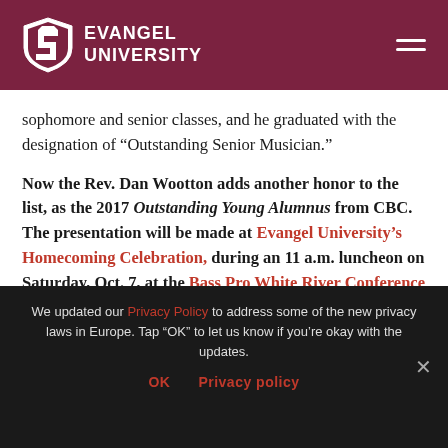Evangel University
sophomore and senior classes, and he graduated with the designation of “Outstanding Senior Musician.”
Now the Rev. Dan Wootton adds another honor to the list, as the 2017 Outstanding Young Alumnus from CBC. The presentation will be made at Evangel University’s Homecoming Celebration, during an 11 a.m. luncheon on Saturday, Oct. 7, at the Bass Pro White River Conference Center.
The Alumni Board recognizes that many young alumni
We updated our Privacy Policy to address some of the new privacy laws in Europe. Tap “OK” to let us know if you’re okay with the updates.
OK   Privacy policy